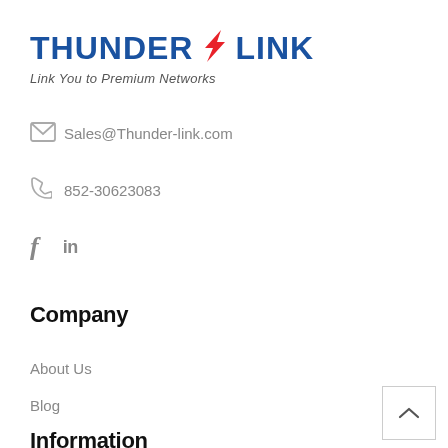[Figure (logo): Thunder-link logo with blue bold text THUNDER and LINK, red lightning bolt in between, tagline: Link You to Premium Networks]
Sales@Thunder-link.com
852-30623083
[Figure (other): Social media icons: Facebook (f) and LinkedIn (in)]
Company
About Us
Blog
Information